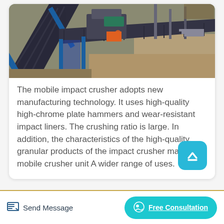[Figure (photo): Aerial/overhead view of a mobile impact crusher plant at a mining or quarrying site, showing conveyor belts, machinery, and equipment on a dirt surface.]
The mobile impact crusher adopts new manufacturing technology. It uses high-quality high-chrome plate hammers and wear-resistant impact liners. The crushing ratio is large. In addition, the characteristics of the high-quality granular products of the impact crusher make the mobile crusher unit A wider range of uses.
Send Message   Free Consultation